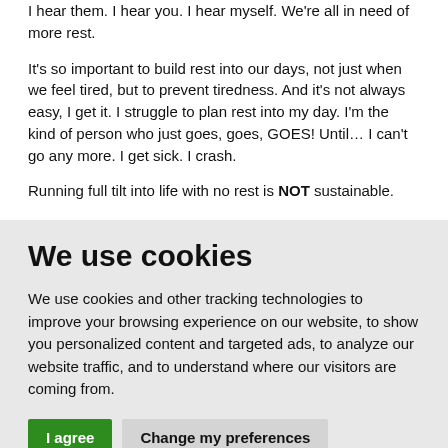I hear them. I hear you. I hear myself. We're all in need of more rest.
It's so important to build rest into our days, not just when we feel tired, but to prevent tiredness. And it's not always easy, I get it. I struggle to plan rest into my day. I'm the kind of person who just goes, goes, GOES! Until… I can't go any more. I get sick. I crash.
Running full tilt into life with no rest is NOT sustainable.
We use cookies
We use cookies and other tracking technologies to improve your browsing experience on our website, to show you personalized content and targeted ads, to analyze our website traffic, and to understand where our visitors are coming from.
I agree    Change my preferences